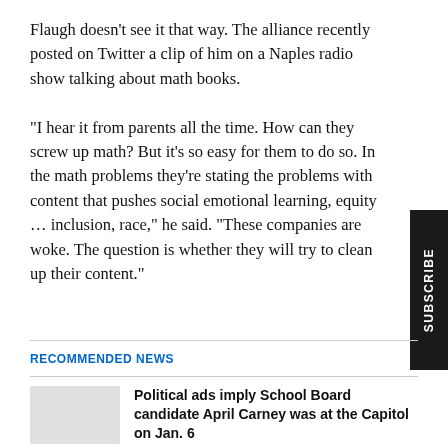Flaugh doesn't see it that way. The alliance recently posted on Twitter a clip of him on a Naples radio show talking about math books.

"I hear it from parents all the time. How can they screw up math? But it's so easy for them to do so. In the math problems they're stating the problems with content that pushes social emotional learning, equity … inclusion, race," he said. "These companies are woke. The question is whether they will try to clean up their content."
RECOMMENDED NEWS
Political ads imply School Board candidate April Carney was at the Capitol on Jan. 6
3 WEEKS AGO